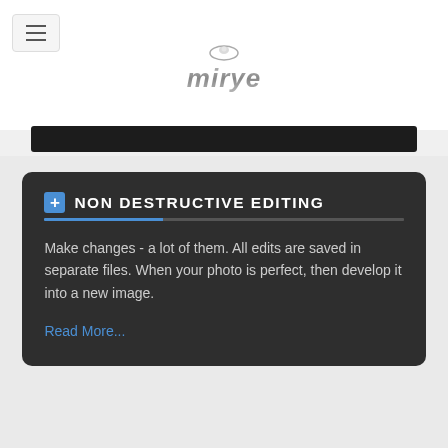[Figure (logo): Mirye software logo with metallic italic text and a small sphere/bubble above]
[Figure (other): Dark navigation bar below the header]
NON DESTRUCTIVE EDITING
Make changes - a lot of them. All edits are saved in separate files. When your photo is perfect, then develop it into a new image.
Read More...